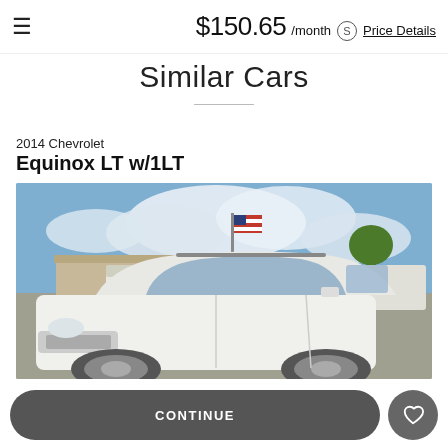$150.65 /month Price Details
Similar Cars
2014 Chevrolet
Equinox LT w/1LT
[Figure (photo): White 2014 Chevrolet Equinox LT w/1LT parked in a dealership lot with an American flag in the background, blue sky with clouds, and other vehicles visible.]
CONTINUE